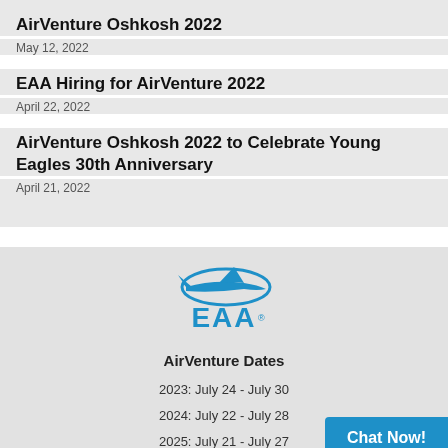AirVenture Oshkosh 2022
May 12, 2022
EAA Hiring for AirVenture 2022
April 22, 2022
AirVenture Oshkosh 2022 to Celebrate Young Eagles 30th Anniversary
April 21, 2022
[Figure (logo): EAA logo — blue airplane silhouette with elliptical swoosh above blue bold letters EAA with registered trademark symbol]
AirVenture Dates
2023: July 24 - July 30
2024: July 22 - July 28
2025: July 21 - July 27